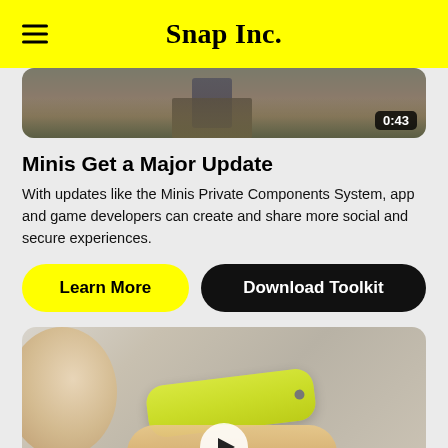Snap Inc.
[Figure (screenshot): Video thumbnail showing a person walking, with a 0:43 duration badge in the bottom right corner]
Minis Get a Major Update
With updates like the Minis Private Components System, app and game developers can create and share more social and secure experiences.
Learn More | Download Toolkit
[Figure (screenshot): Video thumbnail showing a person holding a yellow Spectacles device in their hand with a play button overlay]